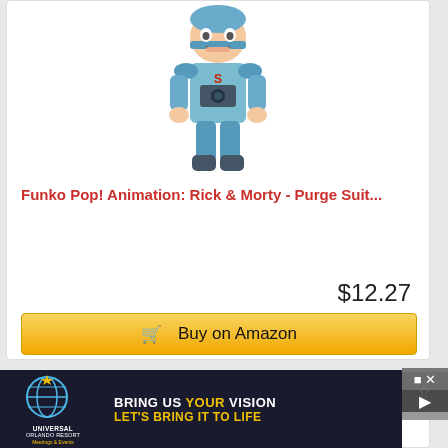[Figure (photo): Funko Pop! vinyl figure of Morty in a blue/grey purge suit with robotic arms and legs]
Funko Pop! Animation: Rick & Morty - Purge Suit...
$12.27
Buy on Amazon
[Figure (photo): Partial view of a second Funko Pop figure, appears to be a dark colored character]
[Figure (other): Universal Orlando Resort advertisement: BRING US YOUR VISION LET'S BRING IT TO LIFE - Meetings & Events]